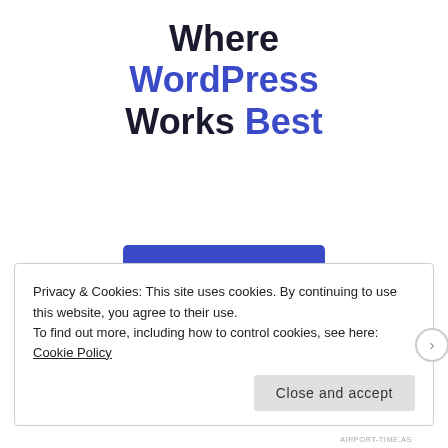Where WordPress Works Best
[Figure (other): SEE PRICING button — a blue rectangular call-to-action button with white uppercase text]
Privacy & Cookies: This site uses cookies. By continuing to use this website, you agree to their use. To find out more, including how to control cookies, see here: Cookie Policy
Close and accept
AIRPORT-TIME.AS